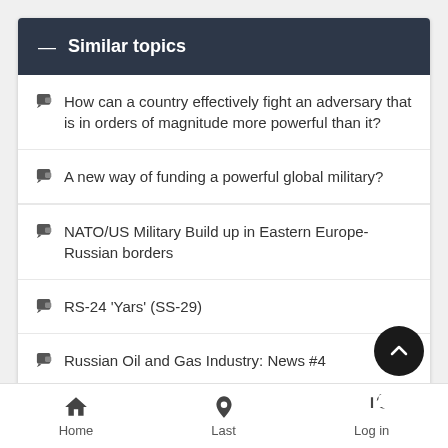Similar topics
How can a country effectively fight an adversary that is in orders of magnitude more powerful than it?
A new way of funding a powerful global military?
NATO/US Military Build up in Eastern Europe-Russian borders
RS-24 'Yars' (SS-29)
Russian Oil and Gas Industry: News #4
Home  Last  Log in